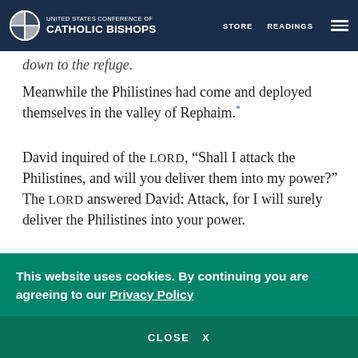UNITED STATES CONFERENCE OF CATHOLIC BISHOPS | STORE | READINGS
anointed king over Israel, they marched out in force down to the refuge.
Meanwhile the Philistines had come and deployed themselves in the valley of Rephaim.*
David inquired of the LORD, “Shall I attack the Philistines, and will you deliver them into my power?” The LORD answered David: Attack, for I will surely deliver the Philistines into your power.
So David went to Baal-perazim,* and he defeated them there. He said, “The LORD has broken through
This website uses cookies. By continuing you are agreeing to our Privacy Policy
CLOSE  X